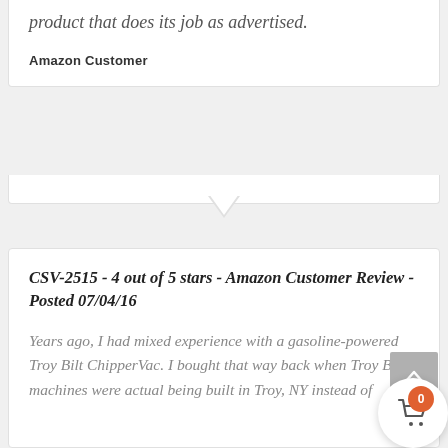product that does its job as advertised.
Amazon Customer
CSV-2515 - 4 out of 5 stars - Amazon Customer Review - Posted 07/04/16
Years ago, I had mixed experience with a gasoline-powered Troy Bilt ChipperVac. I bought that way back when Troy Bilt machines were actual being built in Troy, NY instead of